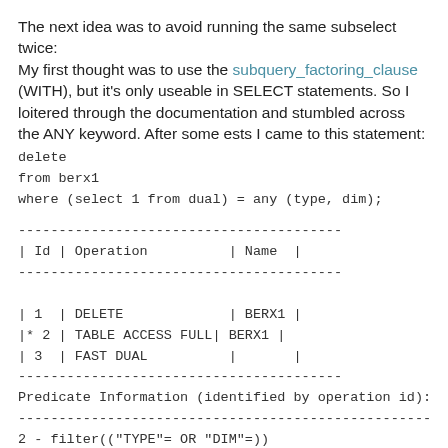The next idea was to avoid running the same subselect twice:
My first thought was to use the subquery_factoring_clause (WITH), but it's only useable in SELECT statements. So I loitered through the documentation and stumbled across the ANY keyword. After some ests I came to this statement:
----------------------------------------
| Id | Operation          | Name  |
----------------------------------------
|  1 | DELETE             | BERX1 |
|* 2 | TABLE ACCESS FULL| BERX1 |
|  3 | FAST DUAL          |       |
----------------------------------------
Predicate Information (identified by operation id):
---------------------------------------------------
2 - filter(("TYPE"= OR "DIM"=))
Anything more to say? Only one subselect, even the filter is